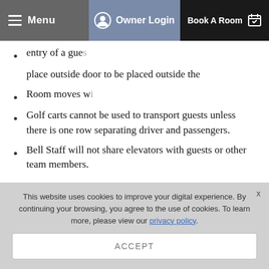Menu | Owner Login | Book A Room
entry of a guest — place outside door to be placed outside the
Room moves — place outside door to be placed outside the
Golf carts cannot be used to transport guests unless there is one row separating driver and passengers.
Bell Staff will not share elevators with guests or other team members.
HOW WE'RE KEEPING SHARED SPACES CLEANER AND SAFER
This website uses cookies to improve your digital experience. By continuing your browsing, you agree to the use of cookies. To learn more, please view our privacy policy.